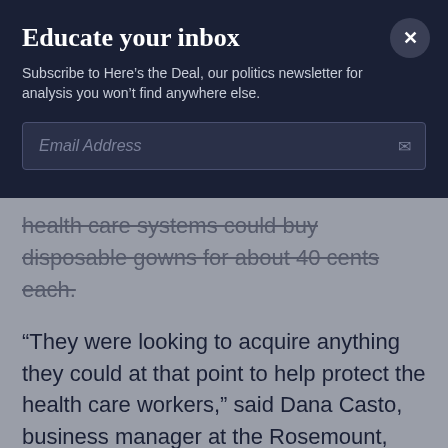Educate your inbox
Subscribe to Here's the Deal, our politics newsletter for analysis you won't find anywhere else.
Email Address
health care systems could buy disposable gowns for about 40 cents each.
“They were looking to acquire anything they could at that point to help protect the health care workers,” said Dana Casto, business manager at the Rosemount, Minnesota-based dairy supply company.
While some states paid a premium for small orders from local suppliers, their purchasing